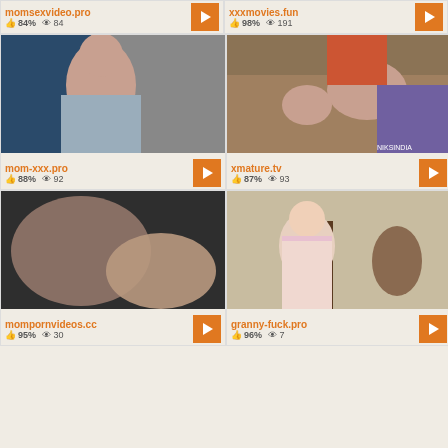momsexvideo.pro 84% 84 views
xxxmovies.fun 98% 191 views
[Figure (photo): Thumbnail of young woman in gray clothing]
mom-xxx.pro 88% 92 views
[Figure (photo): Thumbnail of dark-haired woman in adult content scene]
xmature.tv 87% 93 views
[Figure (photo): Thumbnail of adult content close up]
mompornvideos.cc 95% 30 views
[Figure (photo): Thumbnail of older blonde woman on stairs with man]
granny-fuck.pro 96% 7 views